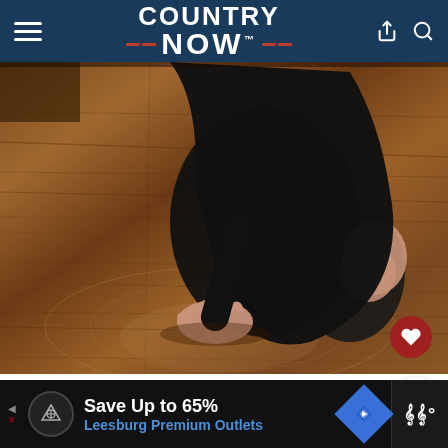COUNTRY NOW
[Figure (photo): Person wearing black velvet outfit crouching/kneeling on a wooden floor, hand pressed against the floor. Wood floor has warm brown tones with circular light reflection.]
Lauren Alaina; Photo by Chris Hollo
Save Up to 65% Leesburg Premium Outlets